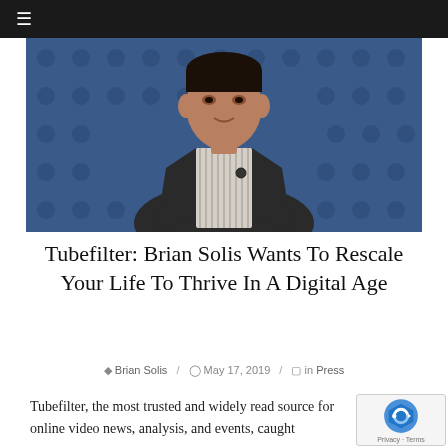≡
[Figure (photo): A man in a dark suit and striped shirt seated in front of a blue textured wall with circular sound panels. He appears to be in a studio interview setting.]
Tubefilter: Brian Solis Wants To Rescale Your Life To Thrive In A Digital Age
Brian Solis / May 17, 2019 / in Press
Tubefilter, the most trusted and widely read source for online video news, analysis, and events, caught up with Solis after learning about The Quest for...